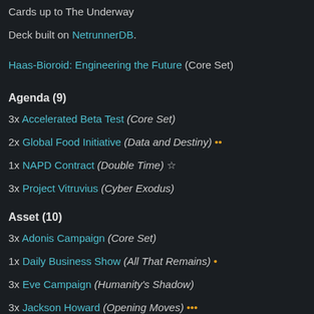Cards up to The Underway
Deck built on NetrunnerDB.
Haas-Bioroid: Engineering the Future (Core Set)
Agenda (9)
3x Accelerated Beta Test (Core Set)
2x Global Food Initiative (Data and Destiny) ••
1x NAPD Contract (Double Time) ☆
3x Project Vitruvius (Cyber Exodus)
Asset (10)
3x Adonis Campaign (Core Set)
1x Daily Business Show (All That Remains) •
3x Eve Campaign (Humanity's Shadow)
3x Jackson Howard (Opening Moves) •••
Upgrade (7)